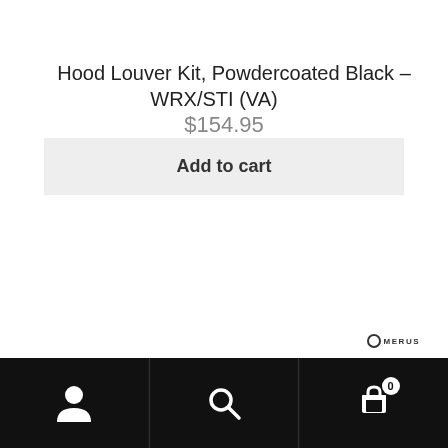Hood Louver Kit, Powdercoated Black – WRX/STI (VA)
$154.95
Add to cart
[Figure (logo): MERUS brand logo with circular icon]
User icon | Search icon | Cart icon with badge 0